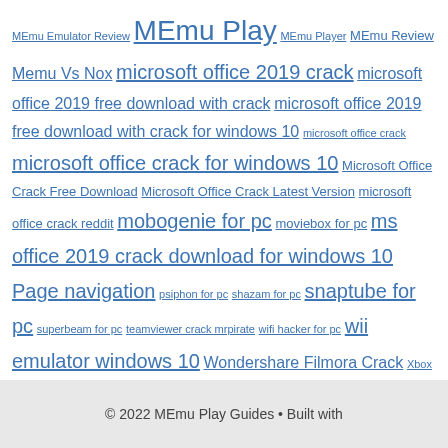MEmu Emulator Review MEmu Play MEmu Player MEmu Review Memu Vs Nox microsoft office 2019 crack microsoft office 2019 free download with crack microsoft office 2019 free download with crack for windows 10 microsoft office crack microsoft office crack for windows 10 Microsoft Office Crack Free Download Microsoft Office Crack Latest Version microsoft office crack reddit mobogenie for pc moviebox for pc ms office 2019 crack download for windows 10 Page navigation psiphon for pc shazam for pc snaptube for pc superbeam for pc teamviewer crack mrpirate wifi hacker for pc wii emulator windows 10 Wondershare Filmora Crack Xbox 360 Emulator For Pc
© 2022 MEmu Play Guides • Built with